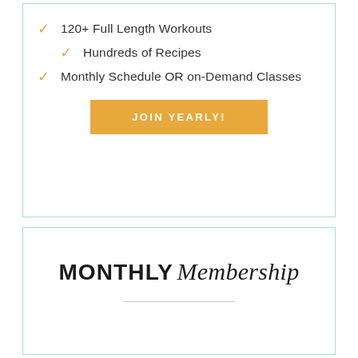120+ Full Length Workouts
Hundreds of Recipes
Monthly Schedule OR on-Demand Classes
JOIN YEARLY!
MONTHLY Membership